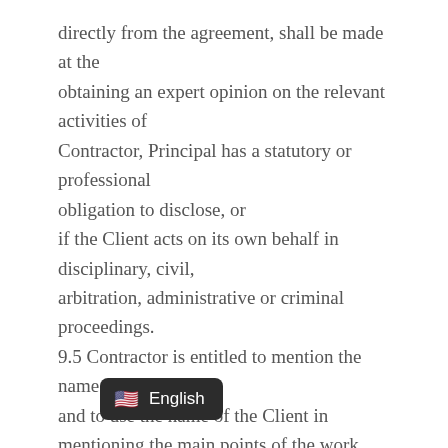directly from the agreement, shall be made at the obtaining an expert opinion on the relevant activities of Contractor, Principal has a statutory or professional obligation to disclose, or if the Client acts on its own behalf in disciplinary, civil, arbitration, administrative or criminal proceedings. 9.5 Contractor is entitled to mention the name of Client and to use the name of the Client in mentioning the main points of the work performed for the (commercial) relations of Contractor as an indication of the Client's experience.
Article 10 - Personal data
10.1 In the context of an assignment given by Principal to Co[ntractor, t]he In [complying with legal obligations to which